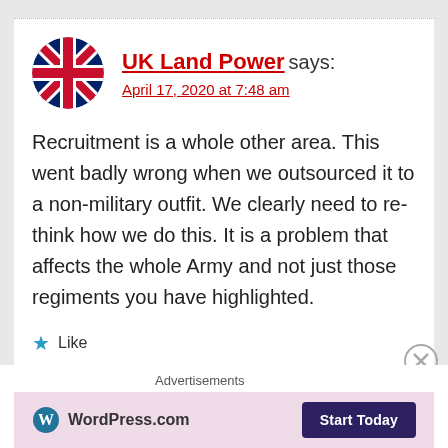UK Land Power says: April 17, 2020 at 7:48 am
Recruitment is a whole other area. This went badly wrong when we outsourced it to a non-military outfit. We clearly need to re-think how we do this. It is a problem that affects the whole Army and not just those regiments you have highlighted.
Like
Advertisements WordPress.com Start Today